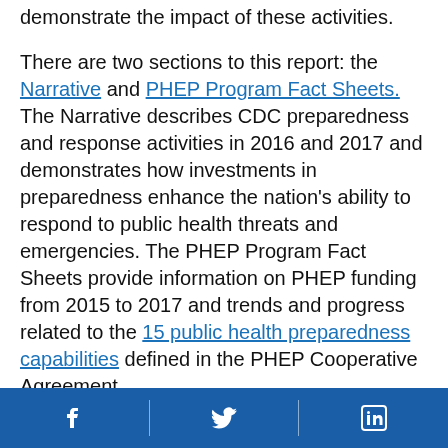demonstrate the impact of these activities.
There are two sections to this report: the Narrative and PHEP Program Fact Sheets. The Narrative describes CDC preparedness and response activities in 2016 and 2017 and demonstrates how investments in preparedness enhance the nation's ability to respond to public health threats and emergencies. The PHEP Program Fact Sheets provide information on PHEP funding from 2015 to 2017 and trends and progress related to the 15 public health preparedness capabilities defined in the PHEP Cooperative Agreement.
Past Snapshots from 2008-2017 can be found
Social media icons: Facebook, Twitter, LinkedIn